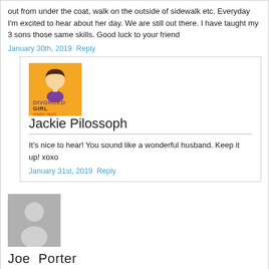out from under the coat, walk on the outside of sidewalk etc. Everyday I'm excited to hear about her day. We are still out there. I have taught my 3 sons those same skills. Good luck to your friend
January 30th, 2019 Reply
[Figure (logo): Divorced Girl Smiling logo - orange/yellow square background with illustrated woman face and text 'DIVORCED GIRL SMILING']
Jackie Pilossoph
It's nice to hear! You sound like a wonderful husband. Keep it up! xoxo
January 31st, 2019 Reply
[Figure (illustration): Gray avatar silhouette of a person (generic user icon)]
Joe Porter
“Second red flag: the guy (who had a short Uber ride to the restaurant) should not have accepted her card. He should have